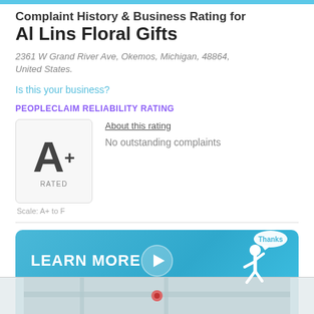Complaint History & Business Rating for Al Lins Floral Gifts
2361 W Grand River Ave, Okemos, Michigan, 48864, United States.
Is this your business?
PEOPLECLAIM RELIABILITY RATING
[Figure (infographic): A+ Rated badge in a rounded box with Scale: A+ to F below it, next to About this rating link and No outstanding complaints text]
[Figure (infographic): Blue LEARN MORE banner button with play button icon and walking person with Thanks speech bubble]